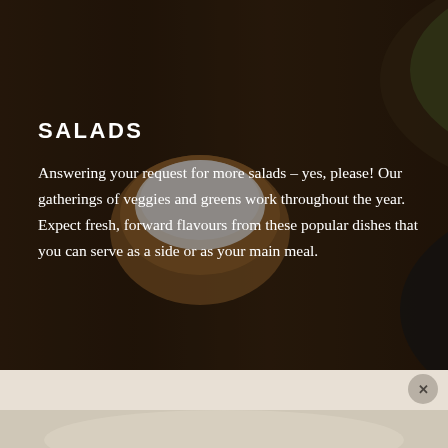[Figure (photo): Dark-toned food photography showing colorful vegetable salads in bowls on a wooden surface, with a wire whisk and fork visible. The image has a warm, moody ambiance with a semi-transparent dark overlay.]
SALADS
Answering your request for more salads – yes, please! Our gatherings of veggies and greens work throughout the year. Expect fresh, forward flavours from these popular dishes that you can serve as a side or as your main meal.
[Figure (photo): Partial view of a second food photograph at the bottom of the page, showing a light-toned food dish, partially visible.]